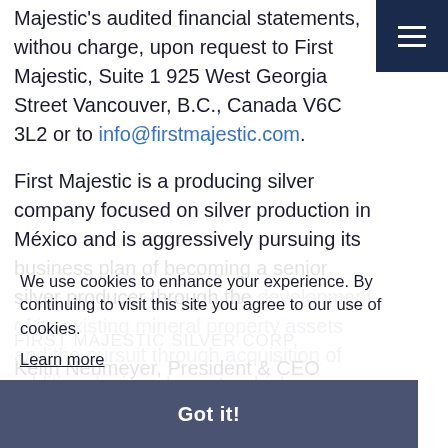Majestic's audited financial statements, without charge, upon request to First Majestic, Suite 1, 925 West Georgia Street Vancouver, B.C., Canada V6C 3L2 or to info@firstmajestic.com.
First Majestic is a producing silver company focused on silver production in México and is aggressively pursuing its business plan of becoming a senior silver producer through the development of its existing mineral property assets and the pursuit through acquisition of additional mineral assets which contribute to the Company achieving its aggressive corporate growth objectives.
We use cookies to enhance your experience. By continuing to visit this site you agree to our use of cookies.
Learn more
Got it!
FIRST MAJESTIC SILVER CORP.
Keith Neumeyer, President & CEO